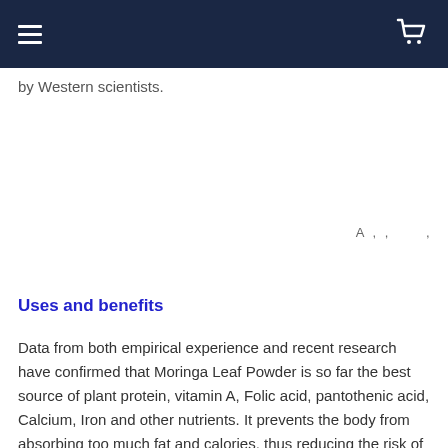≡  🛒
by Western scientists.
A , , ,
Uses and benefits
Data from both empirical experience and recent research have confirmed that Moringa Leaf Powder is so far the best source of plant protein, vitamin A, Folic acid, pantothenic acid, Calcium, Iron and other nutrients. It prevents the body from absorbing too much fat and calories, thus reducing the risk of chronic coronary heart disease,